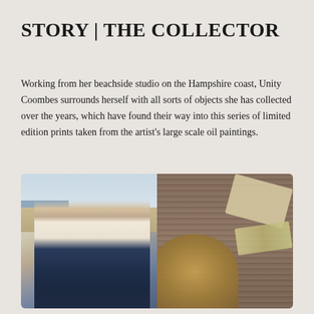STORY | THE COLLECTOR
Working from her beachside studio on the Hampshire coast, Unity Coombes surrounds herself with all sorts of objects she has collected over the years, which have found their way into this series of limited edition prints taken from the artist's large scale oil paintings.
[Figure (photo): Left: A woman with long blonde hair wearing sunglasses, a green headband, a white floral blouse and blue dungarees, crouching and smiling on a wooden beach boardwalk with a pebble beach and sea in the background. Right: An overhead flat-lay shot on a weathered wooden surface showing a canvas bag, paint tubes, paintbrushes and a wicker basket.]